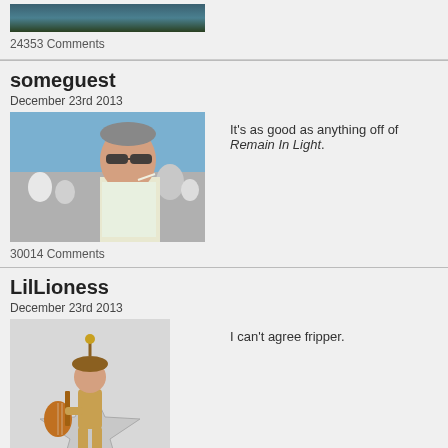24353 Comments
someguest
December 23rd 2013
[Figure (photo): Profile photo of a man wearing sunglasses at an outdoor event with a crowd in the background]
It’s as good as anything off of Remain In Light.
30014 Comments
LilLioness
December 23rd 2013
[Figure (illustration): Cartoon illustration of a female character with a guitar sitting on a star shape]
I can’t agree fripper.
2994 Comments
Barelybreathing
December 23rd 2013
good review, pos
106 Comments